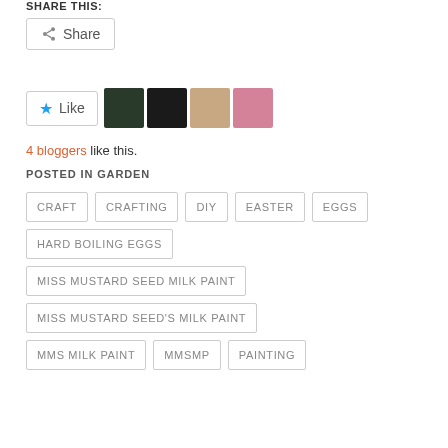SHARE THIS:
Share (button)
[Figure (other): Like button with star icon and 4 blogger avatars]
4 bloggers like this.
POSTED IN GARDEN
CRAFT
CRAFTING
DIY
EASTER
EGGS
HARD BOILING EGGS
MISS MUSTARD SEED MILK PAINT
MISS MUSTARD SEED'S MILK PAINT
MMS MILK PAINT
MMSMP
PAINTING